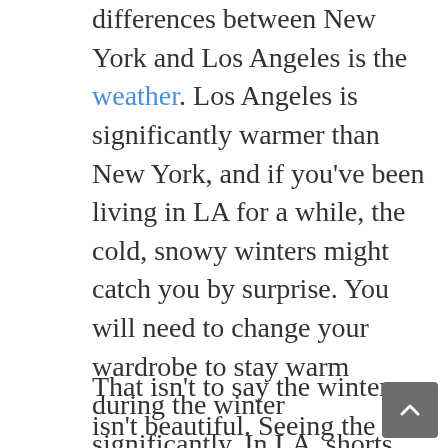differences between New York and Los Angeles is the weather. Los Angeles is significantly warmer than New York, and if you've been living in LA for a while, the cold, snowy winters might catch you by surprise. You will need to change your wardrobe to stay warm during the winter significantly. In LA, shorts and tanks are a need year-round, but you will need to pack layers, winter coats, gloves, hats, and warm socks in New York. Especially if you're looking at smaller or older houses, heating can be expensive and not efficient.
That isn't to say the winter isn't beautiful. Seeing the leaves change